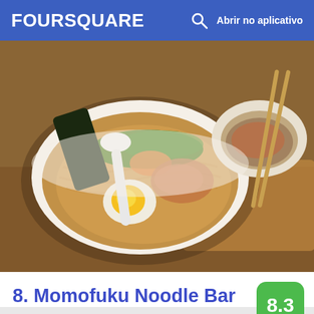FOURSQUARE   Abrir no aplicativo
[Figure (photo): Bowl of ramen noodles with soft-boiled egg, seaweed, green onions, and a side bowl of meat; chopsticks visible in background]
8. Momofuku Noodle Bar
171 1st Ave (btwn E 10th & E 11th St), Nova Iorque, NY
Restaurante de Ramen · East Village · 850 dicas e avaliações
[Figure (photo): Partial view of another food item, bottom of page]